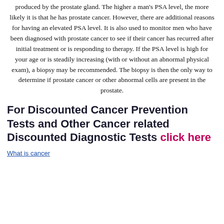produced by the prostate gland. The higher a man's PSA level, the more likely it is that he has prostate cancer. However, there are additional reasons for having an elevated PSA level. It is also used to monitor men who have been diagnosed with prostate cancer to see if their cancer has recurred after initial treatment or is responding to therapy. If the PSA level is high for your age or is steadily increasing (with or without an abnormal physical exam), a biopsy may be recommended. The biopsy is then the only way to determine if prostate cancer or other abnormal cells are present in the prostate.
For Discounted Cancer Prevention Tests and Other Cancer related Discounted Diagnostic Tests click here
What is cancer